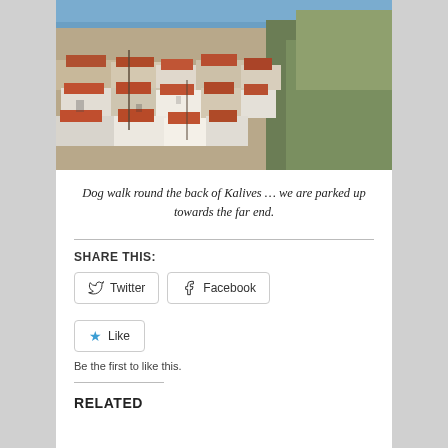[Figure (photo): Aerial/elevated view of Kalives village with terracotta-roofed buildings, sea visible in background, olive trees on right side]
Dog walk round the back of Kalives … we are parked up towards the far end.
SHARE THIS:
Twitter  Facebook
Like
Be the first to like this.
RELATED